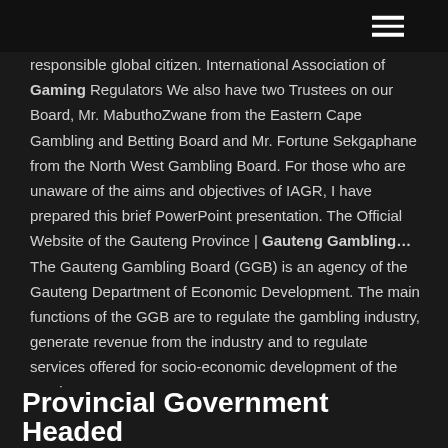≡ (menu icon)
responsible global citizen. International Association of Gaming Regulators We also have two Trustees on our Board, Mr. MabuthoZwane from the Eastern Cape Gambling and Betting Board and Mr. Fortune Sekgaphane from the North West Gambling Board. For those who are unaware of the aims and objectives of IAGR, I have prepared this brief PowerPoint presentation. The Official Website of the Gauteng Province | Gauteng Gambling… The Gauteng Gambling Board (GGB) is an agency of the Gauteng Department of Economic Development. The main functions of the GGB are to regulate the gambling industry, generate revenue from the industry and to regulate services offered for socio-economic development of the province.
Provincial Government Headed